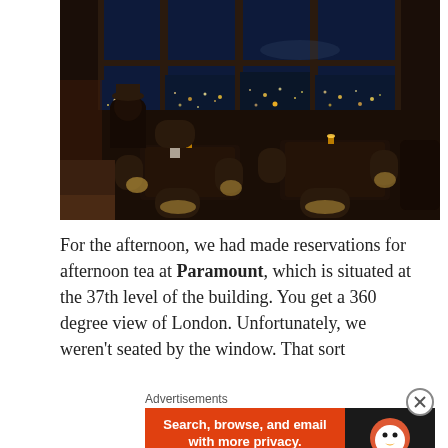[Figure (photo): Interior of the Paramount bar/restaurant at night. Dimly lit room with modern chairs and tables near floor-to-ceiling windows showing a panoramic night view of a city skyline with glowing lights. A person is seated in the background silhouetted against the blue night sky.]
For the afternoon, we had made reservations for afternoon tea at Paramount, which is situated at the 37th level of the building. You get a 360 degree view of London. Unfortunately, we weren't seated by the window. That sort